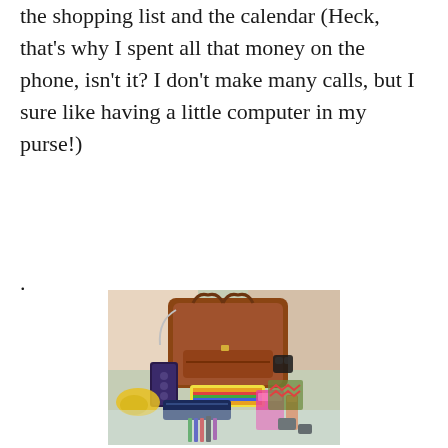the shopping list and the calendar (Heck, that's why I spent all that money on the phone, isn't it? I don't make many calls, but I sure like having a little computer in my purse!)
.
[Figure (photo): A brown leather purse (Coach-style) displayed upright on a floral fabric background, with the contents of the purse spread out in front of it: a patterned phone case, sunglasses, a striped multicolor wallet/pouch, pens and markers, a navy zip pouch, pink and colorful items, and a yellow scrunchie/scarf.]